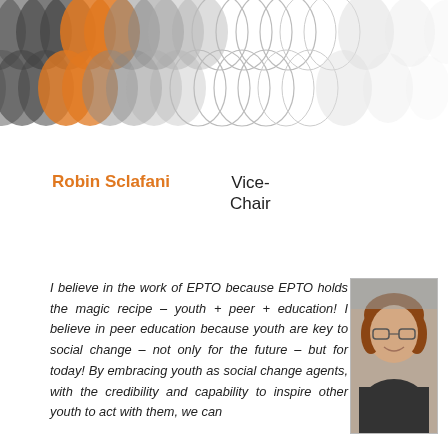[Figure (illustration): Decorative header with overlapping circle/petal pattern in shades of orange, dark gray, medium gray, light gray, and white/outline, arranged in rows across the top of the page.]
Robin Sclafani    Vice-Chair
I believe in the work of EPTO because EPTO holds the magic recipe – youth + peer + education! I believe in peer education because youth are key to social change – not only for the future – but for today! By embracing youth as social change agents, with the credibility and capability to inspire other youth to act with them, we can
[Figure (photo): Headshot photo of Robin Sclafani, a woman with reddish-brown shoulder-length hair, wearing glasses, smiling, in front of a blurred background.]